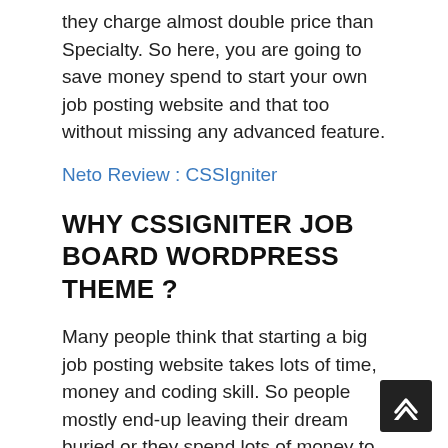they charge almost double price than Specialty. So here, you are going to save money spend to start your own job posting website and that too without missing any advanced feature.
Neto Review : CSSIgniter
WHY CSSIGNITER JOB BOARD WORDPRESS THEME ?
Many people think that starting a big job posting website takes lots of time, money and coding skill. So people mostly end-up leaving their dream buried or they spend lots of money to create website by programmers. But forget all those traditional methods as CSSIgniter has done everything to simplify the entire process. It gives you custom features support that to enable employers to list projects or job vacancies